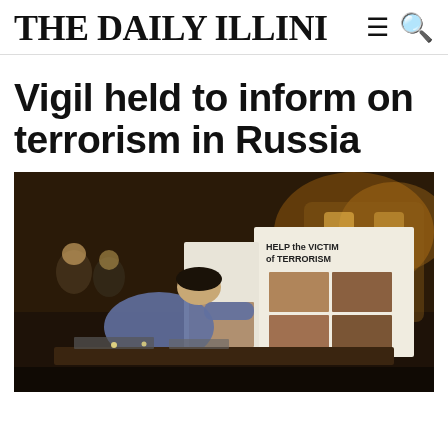THE DAILY ILLINI
Vigil held to inform on terrorism in Russia
[Figure (photo): A person leaning over a table at a nighttime vigil, with a poster reading 'HELP THE VICTIMS OF TERRORISM' visible in the background, along with other people and illuminated building architecture.]